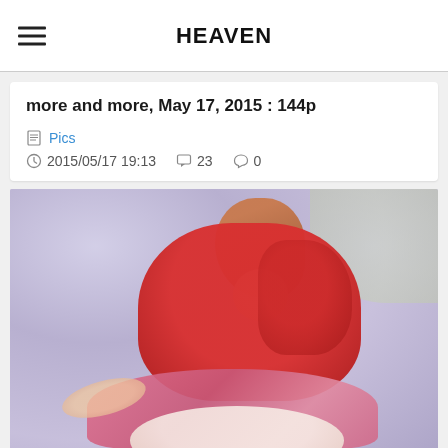HEAVEN
more and more, May 17, 2015 : 144p
Pics
2015/05/17 19:13   23   0
[Figure (photo): A woman with reddish-auburn hair wearing a red cape/jacket and pink checkered skirt, photographed outdoors with blurred purple-toned foliage in the background.]